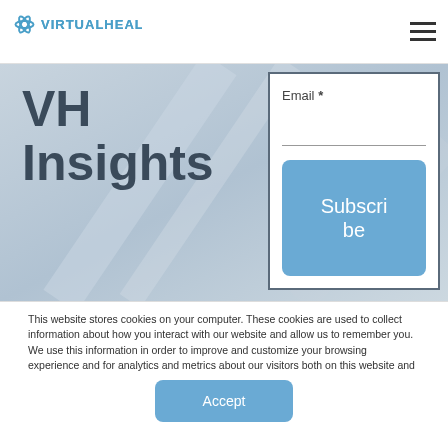VIRTUALHEALTH
VH Insights
[Figure (screenshot): Email subscription form with Email * label, input line, and Subscribe button in blue rounded rectangle]
This website stores cookies on your computer. These cookies are used to collect information about how you interact with our website and allow us to remember you. We use this information in order to improve and customize your browsing experience and for analytics and metrics about our visitors both on this website and other media. To find out more about the cookies we use, see our Privacy Policy.
Accept